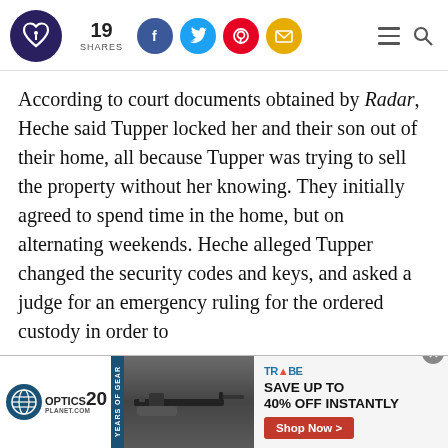19 SHARES [social icons: Facebook, Twitter, Pinterest, Email] [hamburger menu] [search]
According to court documents obtained by Radar, Heche said Tupper locked her and their son out of their home, all because Tupper was trying to sell the property without her knowing. They initially agreed to spend time in the home, but on alternating weekends. Heche alleged Tupper changed the security codes and keys, and asked a judge for an emergency ruling for the ordered custody in order to
[Figure (screenshot): Advertisement banner: Optics Planet 20 years of gear logo on the left, photo of a rifle/gun in center, Tribe brand logo with 'SAVE UP TO 40% OFF INSTANTLY' text and a red 'Shop Now >' button on the right. Close (X) button in top-right corner.]